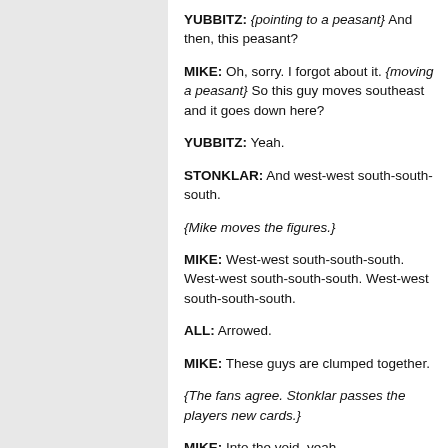YUBBITZ: {pointing to a peasant} And then, this peasant?
MIKE: Oh, sorry. I forgot about it. {moving a peasant} So this guy moves southeast and it goes down here?
YUBBITZ: Yeah.
STONKLAR: And west-west south-south-south.
{Mike moves the figures.}
MIKE: West-west south-south-south. West-west south-south-south. West-west south-south-south.
ALL: Arrowed.
MIKE: These guys are clumped together.
{The fans agree. Stonklar passes the players new cards.}
MIKE: Into the void, yeah.